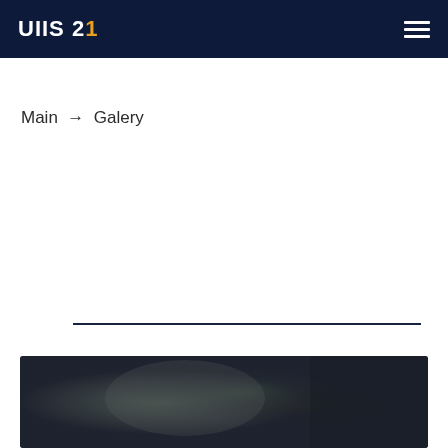UIIS 21
Main → Galery
[Figure (photo): Blurred dark photograph visible at bottom of page, appears to be an outdoor or event scene with dark tones]